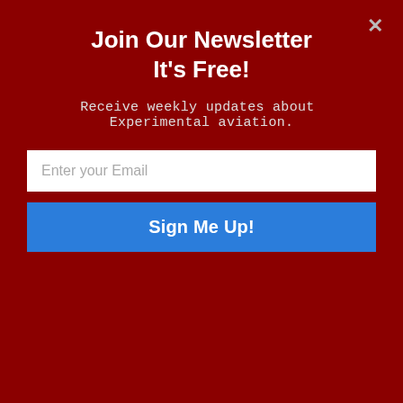Join Our Newsletter
It's Free!
Receive weekly updates about Experimental aviation.
Enter your Email
Sign Me Up!
inch Lexan cut an [POWERED BY SUMO] gh, pliable polycarbonate, Lexan costs more than Plexiglas, Durand wrote, “but you don’t have to build or borrow an oven to heat it before bending.” The canopy frame holds it in place, and its curvature produces a rigid surface that eliminates the need for corner posts that would block the occupants’ view.